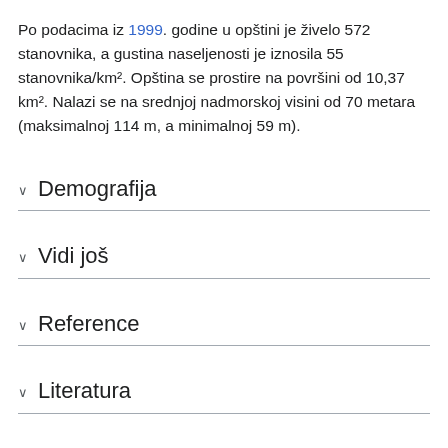Po podacima iz 1999. godine u opštini je živelo 572 stanovnika, a gustina naseljenosti je iznosila 55 stanovnika/km². Opština se prostire na površini od 10,37 km². Nalazi se na srednjoj nadmorskoj visini od 70 metara (maksimalnoj 114 m, a minimalnoj 59 m).
Demografija
Vidi još
Reference
Literatura